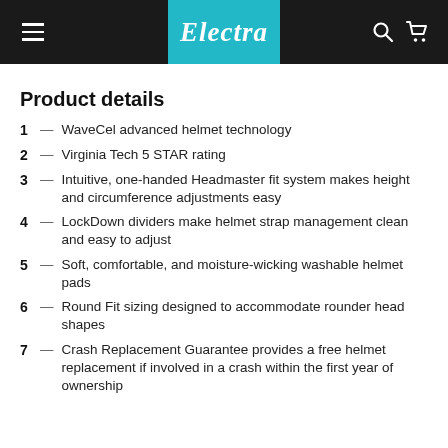Electra
Product details
WaveCel advanced helmet technology
Virginia Tech 5 STAR rating
Intuitive, one-handed Headmaster fit system makes height and circumference adjustments easy
LockDown dividers make helmet strap management clean and easy to adjust
Soft, comfortable, and moisture-wicking washable helmet pads
Round Fit sizing designed to accommodate rounder head shapes
Crash Replacement Guarantee provides a free helmet replacement if involved in a crash within the first year of ownership